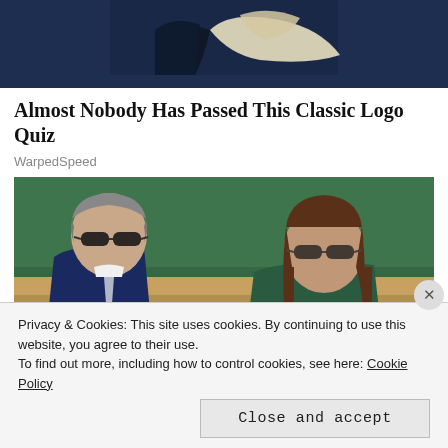[Figure (photo): Partial top image showing a person in dark navy clothing with a light cream/beige draped fabric against a dark background]
Almost Nobody Has Passed This Classic Logo Quiz
WarpedSpeed
[Figure (photo): Two people seated at what appears to be a tennis event (Wimbledon). An older man with grey hair and sunglasses in a navy suit, and a younger woman with long brown hair and sunglasses, both in stands with green seats visible in the background.]
Privacy & Cookies: This site uses cookies. By continuing to use this website, you agree to their use.
To find out more, including how to control cookies, see here: Cookie Policy
Close and accept